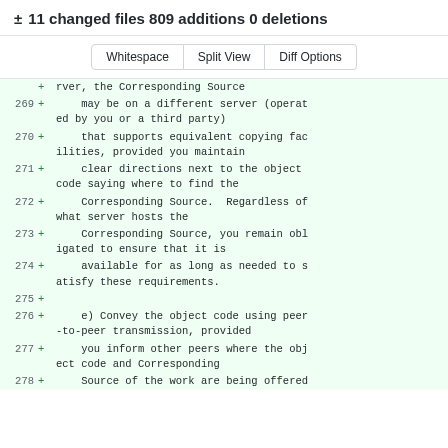± 11 changed files 809 additions 0 deletions
Whitespace  Split View  Diff Options
| line | type | code |
| --- | --- | --- |
|  | + | rver, the Corresponding Source |
| 269 | + |     may be on a different server (operated by you or a third party) |
| 270 | + |     that supports equivalent copying facilities, provided you maintain |
| 271 | + |     clear directions next to the object code saying where to find the |
| 272 | + |     Corresponding Source.  Regardless of what server hosts the |
| 273 | + |     Corresponding Source, you remain obligated to ensure that it is |
| 274 | + |     available for as long as needed to satisfy these requirements. |
| 275 | + |  |
| 276 | + |     e) Convey the object code using peer-to-peer transmission, provided |
| 277 | + |     you inform other peers where the object code and Corresponding |
| 278 | + |     Source of the work are being offered |